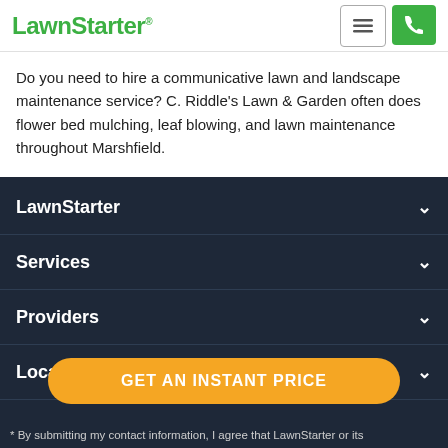LawnStarter
Do you need to hire a communicative lawn and landscape maintenance service? C. Riddle’s Lawn & Garden often does flower bed mulching, leaf blowing, and lawn maintenance throughout Marshfield.
LawnStarter
Services
Providers
Locations
Mo
GET AN INSTANT PRICE
* By submitting my contact information, I agree that LawnStarter or its